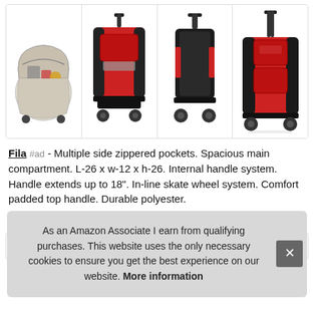[Figure (photo): Four product images of Fila rolling luggage bags arranged in a horizontal row with dividers. First shows open bag with contents, second shows red/black rolling duffel from front, third shows dark rolling bag from side/front, fourth shows red/black rolling bag from front.]
Fila #ad - Multiple side zippered pockets. Spacious main compartment. L-26 x w-12 x h-26. Internal handle system. Handle extends up to 18". In-line skate wheel system. Comfort padded top handle. Durable polyester.
More information #ad
As an Amazon Associate I earn from qualifying purchases. This website uses the only necessary cookies to ensure you get the best experience on our website. More information